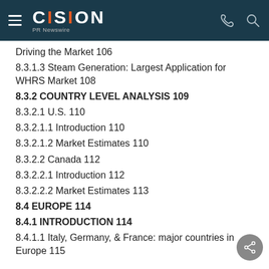CISION PR Newswire
Driving the Market 106
8.3.1.3 Steam Generation: Largest Application for WHRS Market 108
8.3.2 COUNTRY LEVEL ANALYSIS 109
8.3.2.1 U.S. 110
8.3.2.1.1 Introduction 110
8.3.2.1.2 Market Estimates 110
8.3.2.2 Canada 112
8.3.2.2.1 Introduction 112
8.3.2.2.2 Market Estimates 113
8.4 EUROPE 114
8.4.1 INTRODUCTION 114
8.4.1.1 Italy, Germany, & France: major countries in Europe 115